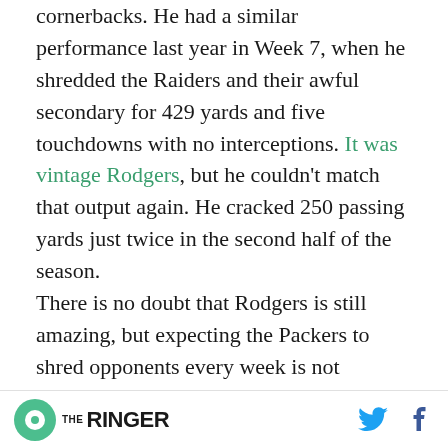cornerbacks. He had a similar performance last year in Week 7, when he shredded the Raiders and their awful secondary for 429 yards and five touchdowns with no interceptions. It was vintage Rodgers, but he couldn't match that output again. He cracked 250 passing yards just twice in the second half of the season.

There is no doubt that Rodgers is still amazing, but expecting the Packers to shred opponents every week is not realistic. Having said that, there is another opportunity on the schedule for a repeat Rodgers performance: Week 4, against the
THE RINGER